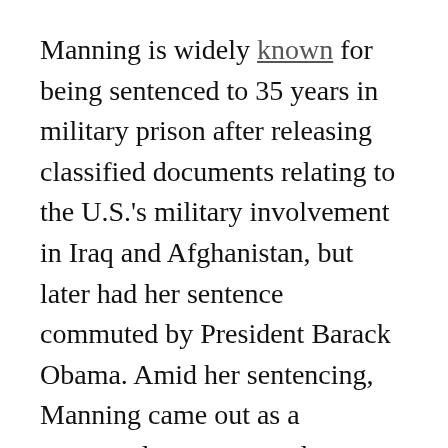Manning is widely known for being sentenced to 35 years in military prison after releasing classified documents relating to the U.S.'s military involvement in Iraq and Afghanistan, but later had her sentence commuted by President Barack Obama. Amid her sentencing, Manning came out as a transgender woman and demanded her legal rights to medical therapy.
The Penny Stamps Speaker Series focuses on bringing in speakers from different fields to the University to discuss their innovations in their respective fields. Past speakers have included...